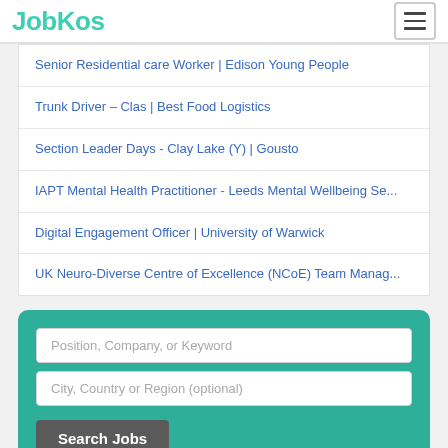JobKos
Senior Residential care Worker | Edison Young People
Trunk Driver – Clas | Best Food Logistics
Section Leader Days - Clay Lake (Y) | Gousto
IAPT Mental Health Practitioner - Leeds Mental Wellbeing Se...
Digital Engagement Officer | University of Warwick
UK Neuro-Diverse Centre of Excellence (NCoE) Team Manag...
Position, Company, or Keyword
City, Country or Region (optional)
Search Jobs